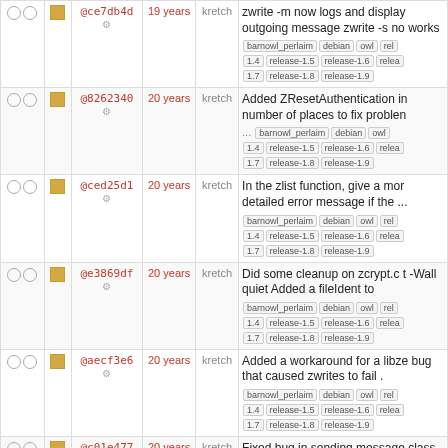|  |  | hash | age | author | message |
| --- | --- | --- | --- | --- | --- |
| ○ ○ | ■ | @ce7db4d | 19 years | kretch | zwrite -m now logs and display outgoing message zwrite -s no works | barnowl_perlaim debian owl rel 1.4 release-1.5 release-1.6 relea 1.7 release-1.8 release-1.9 |
| ○ ○ | ■ | @8262340 | 20 years | kretch | Added ZResetAuthentication in number of places to fix problen ... barnowl_perlaim debian owl 1.4 release-1.5 release-1.6 relea 1.7 release-1.8 release-1.9 |
| ○ ○ | ■ | @ced25d1 | 20 years | kretch | In the zlist function, give a mon detailed error message if the ... barnowl_perlaim debian owl rel 1.4 release-1.5 release-1.6 relea 1.7 release-1.8 release-1.9 |
| ○ ○ | ■ | @e3869df | 20 years | kretch | Did some cleanup on zcrypt.c t -Wall quiet Added a fileIdent to barnowl_perlaim debian owl rel 1.4 release-1.5 release-1.6 relea 1.7 release-1.8 release-1.9 |
| ○ ○ | ■ | @aecf3e6 | 20 years | kretch | Added a workaround for a libze bug that caused zwrites to fail . barnowl_perlaim debian owl rel 1.4 release-1.5 release-1.6 relea 1.7 release-1.8 release-1.9 |
| ○ ○ | ■ | @c01e477 | 20 years | kretch | Fixed bug in sending message class with the new zsig code. ... barnowl_perlaim debian owl rel 1.4 release-1.5 release-1.6 relea 1.7 release-1.8 release-1.9 |
| ○ ○ | ■ |  |  |  | Moved zsig generation to the z object Print the zsig used for... |